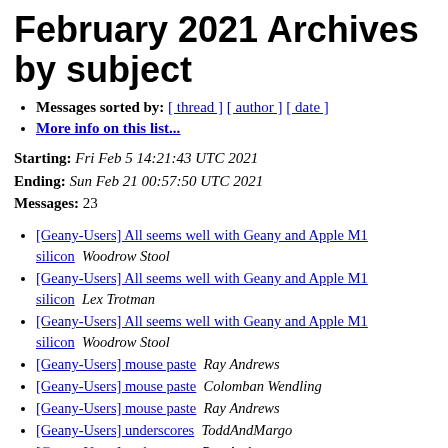February 2021 Archives by subject
Messages sorted by: [ thread ] [ author ] [ date ]
More info on this list...
Starting: Fri Feb 5 14:21:43 UTC 2021
Ending: Sun Feb 21 00:57:50 UTC 2021
Messages: 23
[Geany-Users] All seems well with Geany and Apple M1 silicon   Woodrow Stool
[Geany-Users] All seems well with Geany and Apple M1 silicon   Lex Trotman
[Geany-Users] All seems well with Geany and Apple M1 silicon   Woodrow Stool
[Geany-Users] mouse paste   Ray Andrews
[Geany-Users] mouse paste   Colomban Wendling
[Geany-Users] mouse paste   Ray Andrews
[Geany-Users] underscores   ToddAndMargo
[Geany-Users] underscores   Ray Andrews
[Geany-Users] underscores   Lex Trotman
[Geany-Users] underscores   ToddAndMargo